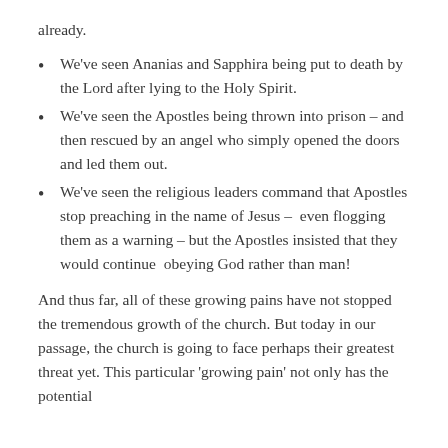already.
We've seen Ananias and Sapphira being put to death by the Lord after lying to the Holy Spirit.
We've seen the Apostles being thrown into prison – and then rescued by an angel who simply opened the doors and led them out.
We've seen the religious leaders command that Apostles stop preaching in the name of Jesus –  even flogging them as a warning – but the Apostles insisted that they would continue  obeying God rather than man!
And thus far, all of these growing pains have not stopped the tremendous growth of the church. But today in our passage, the church is going to face perhaps their greatest threat yet. This particular 'growing pain' not only has the potential